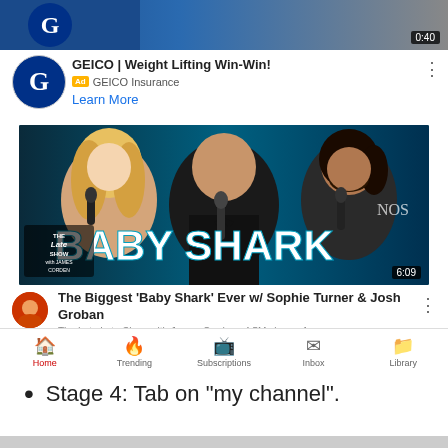[Figure (screenshot): YouTube app screenshot showing a GEICO ad and a Baby Shark video thumbnail from The Late Late Show with James Corden featuring Sophie Turner and Josh Groban, with bottom navigation bar (Home, Trending, Subscriptions, Inbox, Library)]
Stage 4: Tab on “my channel”.